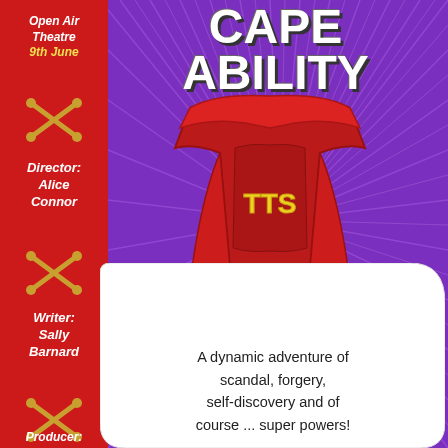CAPEABILITY
Open Air Theatre
9th June
Director:
Alice
Connor
Writer:
Sally
Barnard
Producer:
[Figure (illustration): A red superhero cape with 'TTS' written on the chest in yellow letters, floating without a body, with crossed golden needles/pins at the bottom. Purple background with radiating white/light rays. Comic book style poster art.]
A dynamic adventure of scandal, forgery, self-discovery and of course ... super powers!